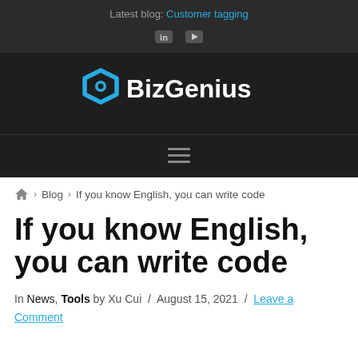Latest blog: Customer tagging
[Figure (logo): BizGenius logo with hexagon icon and white text on dark background]
breadcrumb navigation: Home > Blog > If you know English, you can write code
If you know English, you can write code
In News, Tools by Xu Cui / August 15, 2021 / Leave a Comment